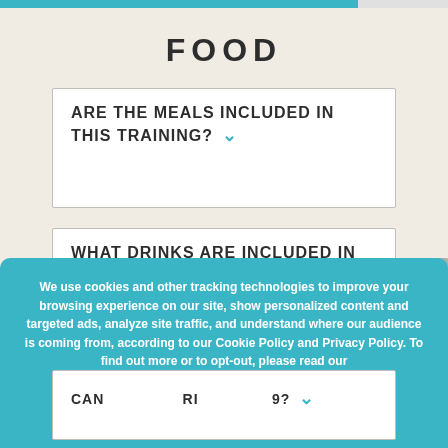FOOD
ARE THE MEALS INCLUDED IN THIS TRAINING?
WHAT DRINKS ARE INCLUDED IN MY PACKAGE?
CAN ... RI...? (partially visible)
We use cookies and other tracking technologies to improve your browsing experience on our site, show personalized content and targeted ads, analyze site traffic, and understand where our audience is coming from, according to our Cookie Policy and Privacy Policy. To find out more or to opt-out, please read our Cookie Policy.
Accept